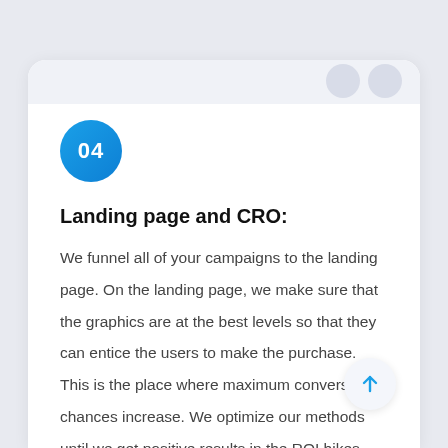[Figure (illustration): Blue circular badge with white bold text '04']
Landing page and CRO:
We funnel all of your campaigns to the landing page. On the landing page, we make sure that the graphics are at the best levels so that they can entice the users to make the purchase. This is the place where maximum conversion chances increase. We optimize our methods until we get positive results in the ROI hikes The ultimate goal of our digital display advertising is to increase conversions and get